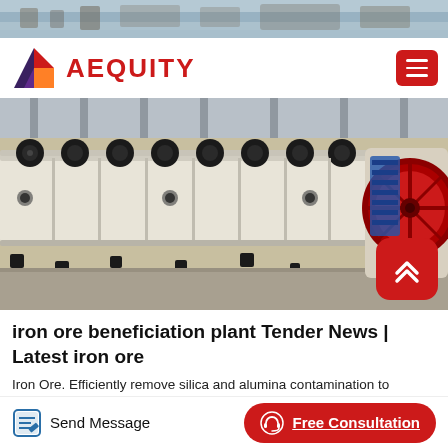[Figure (photo): Top strip photograph of industrial machinery/plant interior]
AEQUITY
[Figure (photo): Photograph of iron ore beneficiation plant machinery — a long conveyor/separator machine with black rollers and a red wheel assembly on the right]
iron ore beneficiation plant Tender News | Latest iron ore
Iron Ore. Efficiently remove silica and alumina contamination to increase efficiencies in steel production. Our iron ore wet processing
Send Message   Free Consultation